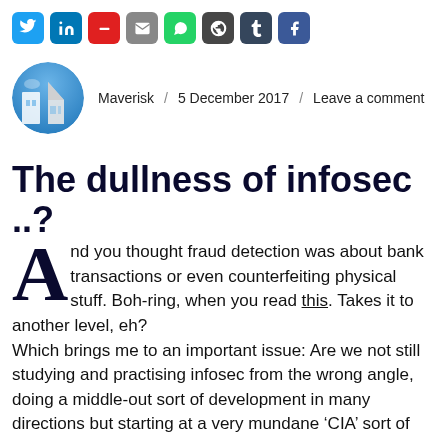[Figure (other): Social media share icons row: Twitter (blue), LinkedIn (blue), minus/red icon, email (grey), WhatsApp (green), WordPress (dark grey), Tumblr (dark blue), Facebook (blue)]
[Figure (photo): Circular avatar photo of author showing a modern building/architecture scene with blue sky]
Maverisk / 5 December 2017 / Leave a comment
The dullness of infosec ..?
And you thought fraud detection was about bank transactions or even counterfeiting physical stuff. Boh-ring, when you read this. Takes it to another level, eh?
Which brings me to an important issue: Are we not still studying and practising infosec from the wrong angle, doing a middle-out sort of development in many directions but starting at a very mundane ‘CIA’ sort of